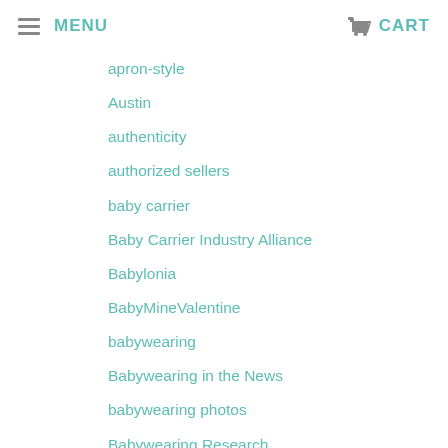MENU   CART
apron-style
Austin
authenticity
authorized sellers
baby carrier
Baby Carrier Industry Alliance
Babylonia
BabyMineValentine
babywearing
Babywearing in the News
babywearing photos
Babywearing Research
back carry
back carrying